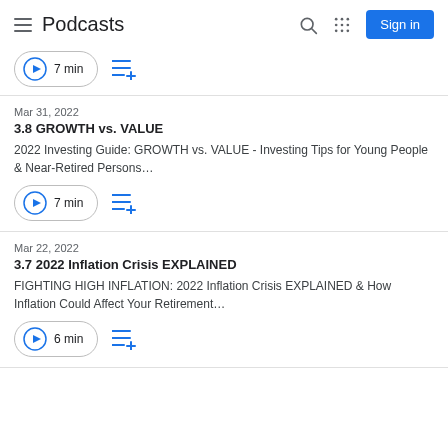Podcasts
7 min
Mar 31, 2022
3.8 GROWTH vs. VALUE
2022 Investing Guide: GROWTH vs. VALUE - Investing Tips for Young People & Near-Retired Persons…
7 min
Mar 22, 2022
3.7 2022 Inflation Crisis EXPLAINED
FIGHTING HIGH INFLATION: 2022 Inflation Crisis EXPLAINED & How Inflation Could Affect Your Retirement…
6 min